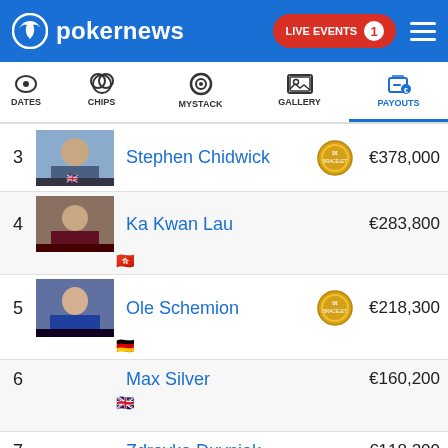pokernews | LIVE EVENTS 1
[Figure (screenshot): Navigation bar with icons: (radio/updates), CHIPS, MYSTACK, GALLERY, PAYOUTS (active/blue)]
| Rank | Player |  | Payout |
| --- | --- | --- | --- |
| 3 | Stephen Chidwick | [bracelet badge] | €378,000 |
| 4 | Ka Kwan Lau |  | €283,800 |
| 5 | Ole Schemion | [bracelet badge] | €218,300 |
| 6 | Max Silver |  | €160,200 |
| 7 | Zdravko Duvnjak |  | €118,200 |
| 8 | Jorma Nuutinen |  | €84,600 |